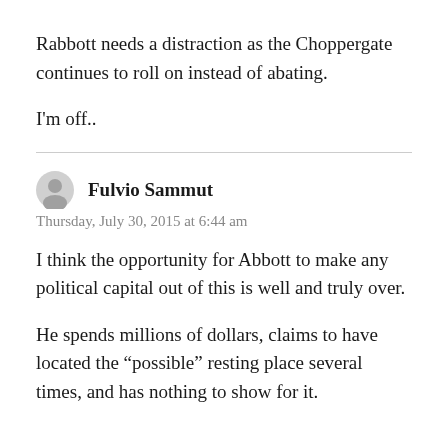Rabbott needs a distraction as the Choppergate continues to roll on instead of abating.
I'm off..
Fulvio Sammut
Thursday, July 30, 2015 at 6:44 am
I think the opportunity for Abbott to make any political capital out of this is well and truly over.
He spends millions of dollars, claims to have located the “possible” resting place several times, and has nothing to show for it.